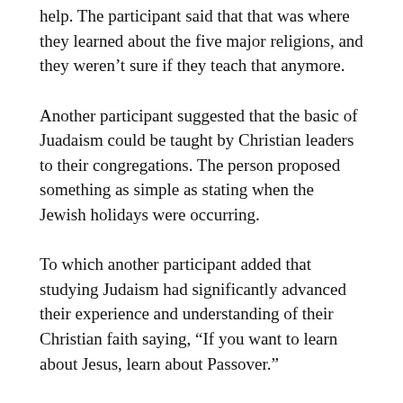help. The participant said that that was where they learned about the five major religions, and they weren't sure if they teach that anymore.
Another participant suggested that the basic of Juadaism could be taught by Christian leaders to their congregations. The person proposed something as simple as stating when the Jewish holidays were occurring.
To which another participant added that studying Judaism had significantly advanced their experience and understanding of their Christian faith saying, “If you want to learn about Jesus, learn about Passover.”
Participants also discussed how events such as the one they were attending – as well as other ones hosted by Congregation Sons of Israel such as the Food and Heritage Festival – were beneficial towards promoting